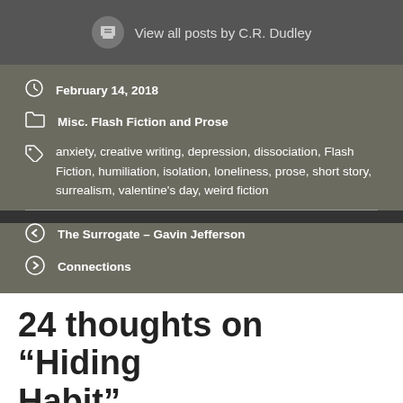View all posts by C.R. Dudley
February 14, 2018
Misc. Flash Fiction and Prose
anxiety, creative writing, depression, dissociation, Flash Fiction, humiliation, isolation, loneliness, prose, short story, surrealism, valentine's day, weird fiction
The Surrogate – Gavin Jefferson
Connections
24 thoughts on “Hiding Habit”